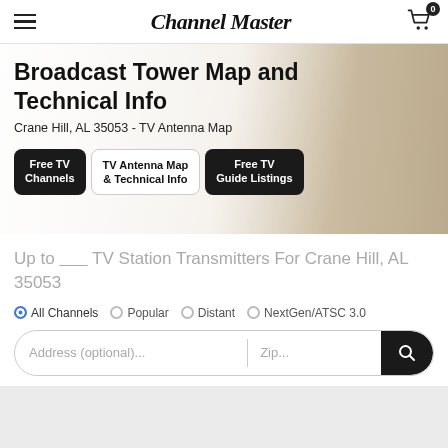Channel Master
[Figure (screenshot): Hero banner with room background image and navigation tabs: Free TV Channels (dark), TV Antenna Map & Technical Info (light/active), Free TV Guide Listings (dark)]
Broadcast Tower Map and Technical Info
Crane Hill, AL 35053 - TV Antenna Map
Up to ____ TV Station Transmitters For Crane Hill, AL 35053
All Channels  Popular  Distant  NextGen/ATSC 3.0
Address (optional)...  Zip...